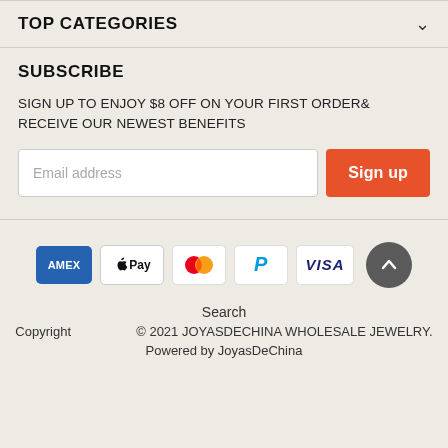TOP CATEGORIES
SUBSCRIBE
SIGN UP TO ENJOY $8 OFF ON YOUR FIRST ORDER& RECEIVE OUR NEWEST BENEFITS
Email address
Sign up
[Figure (other): Payment method icons: AMEX, Apple Pay, Mastercard, PayPal, Visa, and a scroll-to-top button]
Search
Copyright © 2021 JOYASDECHINA WHOLESALE JEWELRY. Powered by JoyasDeChina